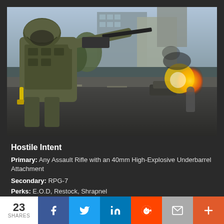[Figure (screenshot): Video game screenshot showing a soldier in tactical gear firing a weapon with an explosion in the background in an urban environment]
Hostile Intent
Primary: Any Assault Rifle with an 40mm High-Explosive Underbarrel Attachment
Secondary: RPG-7
Perks: E.O.D, Restock, Shrapnel
23 SHARES